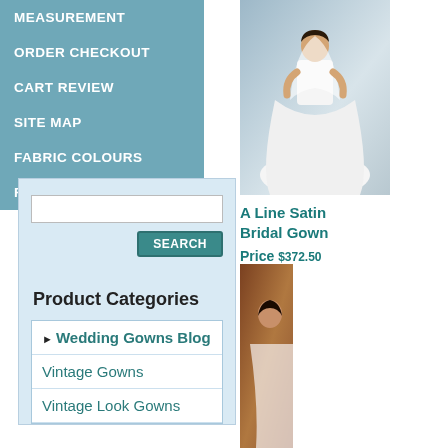MEASUREMENT
ORDER CHECKOUT
CART REVIEW
SITE MAP
FABRIC COLOURS
RETURN POLICY
Product Categories
► Wedding Gowns Blog
Vintage Gowns
Vintage Look Gowns
[Figure (photo): A Line Satin Bridal Gown - woman in white wedding gown]
A Line Satin Bridal Gown
Price $372.50
[Figure (photo): Partial view of another bridal gown product]
Ba- Ne-
[Figure (photo): Bottom product image - partial view]
[Figure (photo): Bottom right product image - partial view]